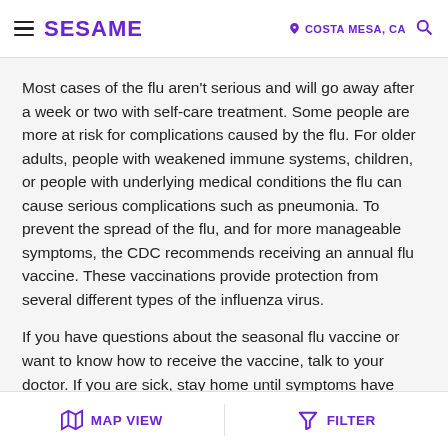SESAME | COSTA MESA, CA
Most cases of the flu aren't serious and will go away after a week or two with self-care treatment. Some people are more at risk for complications caused by the flu. For older adults, people with weakened immune systems, children, or people with underlying medical conditions the flu can cause serious complications such as pneumonia. To prevent the spread of the flu, and for more manageable symptoms, the CDC recommends receiving an annual flu vaccine. These vaccinations provide protection from several different types of the influenza virus.
If you have questions about the seasonal flu vaccine or want to know how to receive the vaccine, talk to your doctor. If you are sick, stay home until symptoms have
MAP VIEW | FILTER